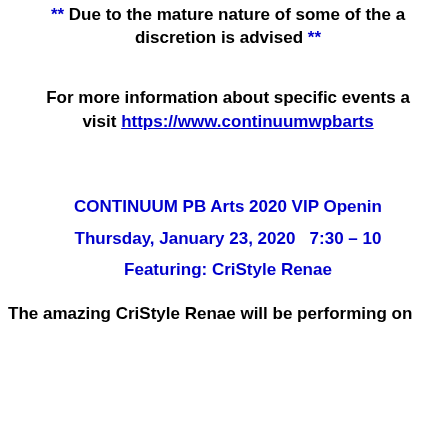** Due to the mature nature of some of the a… discretion is advised **
For more information about specific events a… visit https://www.continuumwpbarts…
CONTINUUM PB Arts 2020 VIP Openin…
Thursday, January 23, 2020   7:30 – 10…
Featuring: CriStyle Renae
The amazing CriStyle Renae will be performing on…